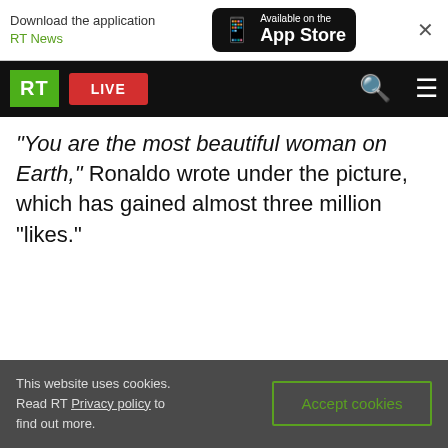Download the application RT News | Available on the App Store
[Figure (screenshot): RT website navigation bar with RT logo in green, LIVE button in red, search icon and menu icon on black background]
“You are the most beautiful woman on Earth,” Ronaldo wrote under the picture, which has gained almost three million “likes.”
This website uses cookies. Read RT Privacy policy to find out more. Accept cookies